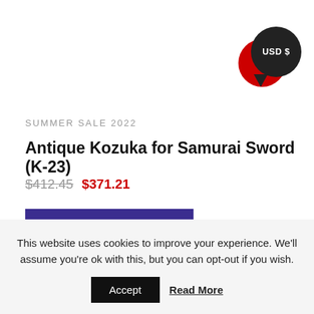[Figure (other): Currency selector badges: overlapping red circle and dark circle with text USD $]
SUMMER SALE 2022
Antique Kozuka for Samurai Sword (K-23)
$412.45 $371.21
ADD TO CART
Add to wishlist
This website uses cookies to improve your experience. We'll assume you're ok with this, but you can opt-out if you wish.
Accept
Read More